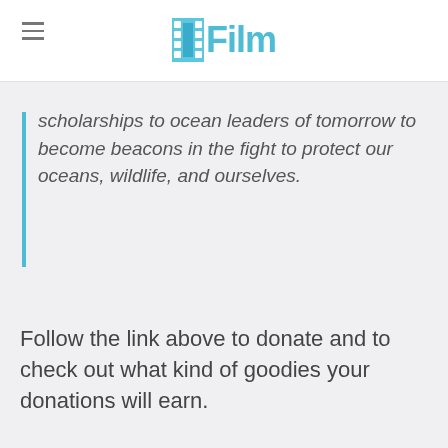/Film
scholarships to ocean leaders of tomorrow to become beacons in the fight to protect our oceans, wildlife, and ourselves.
Follow the link above to donate and to check out what kind of goodies your donations will earn.